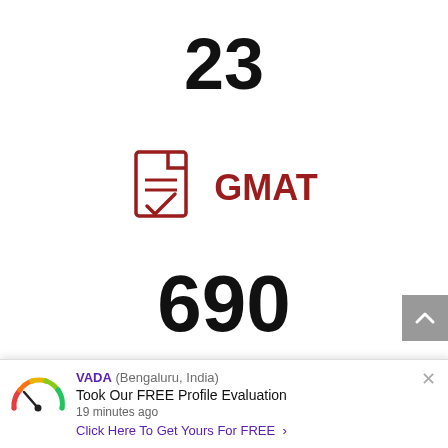23
[Figure (illustration): Red document/file icon with lines and a checkmark, labeled GMAT]
690
[Figure (illustration): Red globe/world icon labeled Nationalities]
VADA (Bengaluru, India) Took Our FREE Profile Evaluation 19 minutes ago Click Here To Get Yours For FREE >